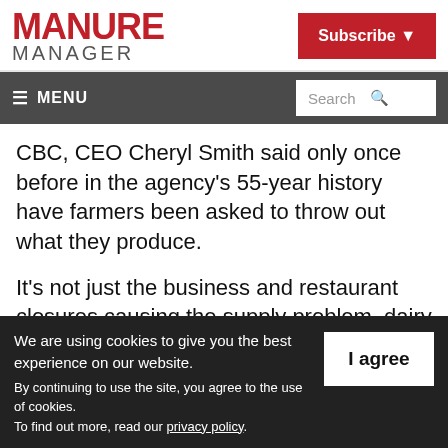MANURE MANAGER | Subscribe
≡ MENU | Search
CBC, CEO Cheryl Smith said only once before in the agency's 55-year history have farmers been asked to throw out what they produce.
It's not just the business and restaurant closures causing the supply problem, dairy farmers say, but also bottlenecks at the
We are using cookies to give you the best experience on our website. By continuing to use the site, you agree to the use of cookies. To find out more, read our privacy policy.
I agree